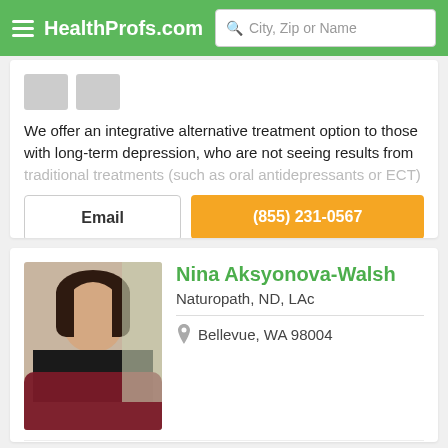HealthProfs.com  City, Zip or Name
We offer an integrative alternative treatment option to those with long-term depression, who are not seeing results from traditional treatments (such as oral antidepressants or ECT)
Email
(855) 231-0567
Nina Aksyonova-Walsh
Naturopath, ND, LAc
Bellevue, WA 98004
A Naturopath, Eleonida would like to connect for practice in Bel...